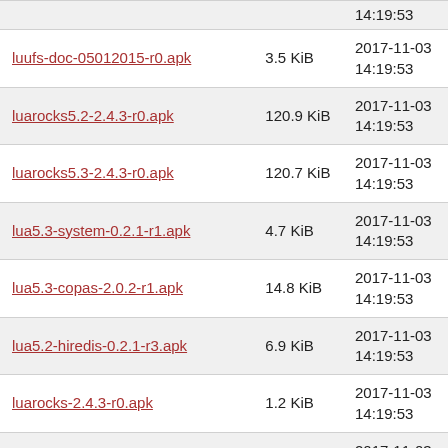| Filename | Size | Date |
| --- | --- | --- |
| (partial top row) |  | 14:19:53 |
| luufs-doc-05012015-r0.apk | 3.5 KiB | 2017-11-03 14:19:53 |
| luarocks5.2-2.4.3-r0.apk | 120.9 KiB | 2017-11-03 14:19:53 |
| luarocks5.3-2.4.3-r0.apk | 120.7 KiB | 2017-11-03 14:19:53 |
| lua5.3-system-0.2.1-r1.apk | 4.7 KiB | 2017-11-03 14:19:53 |
| lua5.3-copas-2.0.2-r1.apk | 14.8 KiB | 2017-11-03 14:19:53 |
| lua5.2-hiredis-0.2.1-r3.apk | 6.9 KiB | 2017-11-03 14:19:53 |
| luarocks-2.4.3-r0.apk | 1.2 KiB | 2017-11-03 14:19:53 |
| lua5.2-say-1.3-r1.apk | 2.2 KiB | 2017-11-03 14:19:53 |
| lxcfs-2.0.7-r0.apk | 35.1 KiB | 2017-11-03 14:19:53 |
| lua5.3-lpeg-1.0.1-r3.apk | 21.6 KiB | 2017-11-03 14:19:53 |
| lxcfs-pam-2.0.7-r0.apk | 11.7 KiB | 2017-11-03 (partial) |